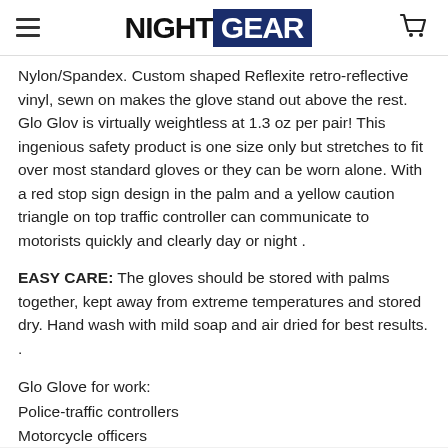NIGHT GEAR
Nylon/Spandex. Custom shaped Reflexite retro-reflective vinyl, sewn on makes the glove stand out above the rest. Glo Glov is virtually weightless at 1.3 oz per pair! This ingenious safety product is one size only but stretches to fit over most standard gloves or they can be worn alone. With a red stop sign design in the palm and a yellow caution triangle on top traffic controller can communicate to motorists quickly and clearly day or night .
EASY CARE: The gloves should be stored with palms together, kept away from extreme temperatures and stored dry. Hand wash with mild soap and air dried for best results. .
Glo Glove for work:
Police-traffic controllers
Motorcycle officers
First responders-fire police